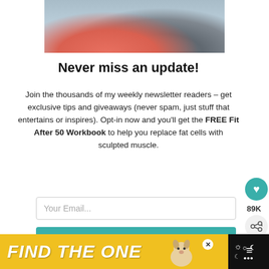[Figure (photo): Two fitness athletes from torso down — woman in pink shorts and man in gray pants, against a gym background]
Never miss an update!
Join the thousands of my weekly newsletter readers – get exclusive tips and giveaways (never spam, just stuff that entertains or inspires). Opt-in now and you'll get the FREE Fit After 50 Workbook to help you replace fat cells with sculpted muscle.
Your Email...
SUBSCRIBE
[Figure (infographic): Advertisement banner: FIND THE ONE with dog image and close button]